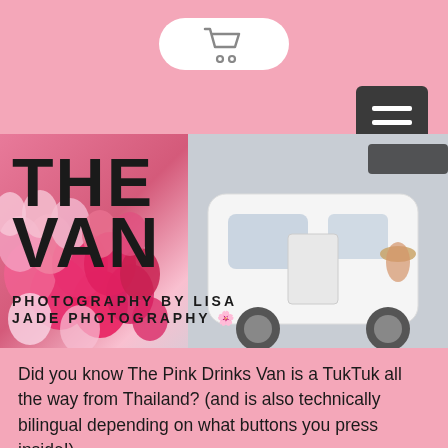Cart button and hamburger menu
[Figure (screenshot): Mobile website screenshot showing The Pink Drinks Van TukTuk with pink balloons, overlaid with bold text 'THE VAN' and photography credit 'PHOTOGRAPHY BY LISA JADE PHOTOGRAPHY']
Did you know The Pink Drinks Van is a TukTuk all the way from Thailand? (and is also technically bilingual depending on what buttons you press inside!)
It was specially brought across to